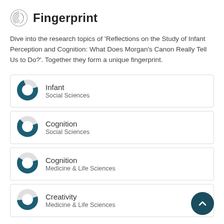Fingerprint
Dive into the research topics of 'Reflections on the Study of Infant Perception and Cognition: What Does Morgan's Canon Really Tell Us to Do?'. Together they form a unique fingerprint.
Infant — Social Sciences
Cognition — Social Sciences
Cognition — Medicine & Life Sciences
Creativity — Medicine & Life Sciences